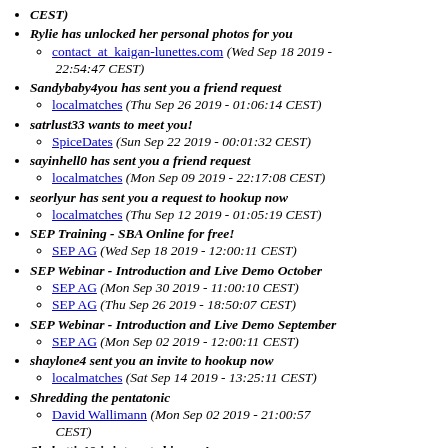CEST)
Rylie has unlocked her personal photos for you
contact_at_kaigan-lunettes.com (Wed Sep 18 2019 - 22:54:47 CEST)
Sandybaby4you has sent you a friend request
localmatches (Thu Sep 26 2019 - 01:06:14 CEST)
satrlust33 wants to meet you!
SpiceDates (Sun Sep 22 2019 - 00:01:32 CEST)
sayinhell0 has sent you a friend request
localmatches (Mon Sep 09 2019 - 22:17:08 CEST)
seorlyur has sent you a request to hookup now
localmatches (Thu Sep 12 2019 - 01:05:19 CEST)
SEP Training - SBA Online for free!
SEP AG (Wed Sep 18 2019 - 12:00:11 CEST)
SEP Webinar - Introduction and Live Demo October
SEP AG (Mon Sep 30 2019 - 11:00:10 CEST)
SEP AG (Thu Sep 26 2019 - 18:50:07 CEST)
SEP Webinar - Introduction and Live Demo September
SEP AG (Mon Sep 02 2019 - 12:00:11 CEST)
shaylone4 sent you an invite to hookup now
localmatches (Sat Sep 14 2019 - 13:25:11 CEST)
Shredding the pentatonic
David Wallimann (Mon Sep 02 2019 - 21:00:57 CEST)
Shyhottie19 is interested in you!